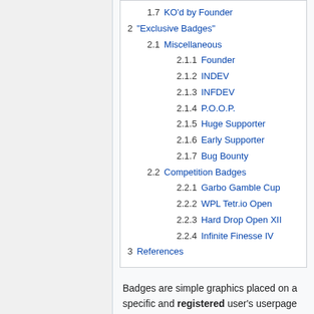1.7 KO'd by Founder
2 "Exclusive Badges"
2.1 Miscellaneous
2.1.1 Founder
2.1.2 INDEV
2.1.3 INFDEV
2.1.4 P.O.O.P.
2.1.5 Huge Supporter
2.1.6 Early Supporter
2.1.7 Bug Bounty
2.2 Competition Badges
2.2.1 Garbo Gamble Cup
2.2.2 WPL Tetr.io Open
2.2.3 Hard Drop Open XII
2.2.4 Infinite Finesse IV
3 References
Badges are simple graphics placed on a specific and registered user's userpage or player card signifying that user's